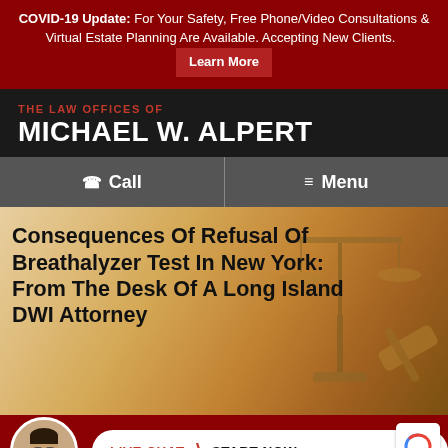COVID-19 Update: For Your Safety, Free Phone/Video Consultations & Virtual Estate Planning Are Available. Accepting New Clients. Learn More
THE LAW OFFICES OF MICHAEL W. ALPERT
[Figure (screenshot): Navigation bar with phone Call and hamburger Menu buttons on dark gray background]
[Figure (photo): Background photo of golden justice scales and gavel with warm orange tones]
Consequences Of Refusal Of Breathalyzer Test In New York: From The Desk Of A Long Island DWI Attorney
[Figure (photo): Live Chat Start Now button pill with attorney avatar photo on red background bar at bottom]